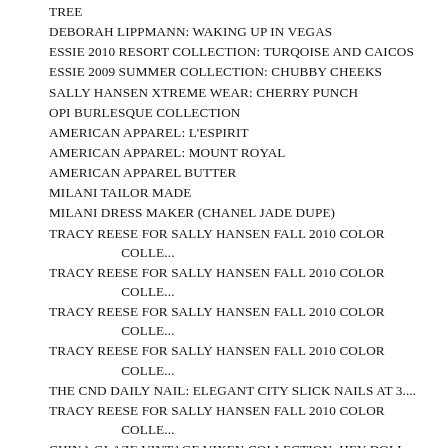TREE
DEBORAH LIPPMANN: WAKING UP IN VEGAS
ESSIE 2010 RESORT COLLECTION: TURQOISE AND CAICOS
ESSIE 2009 SUMMER COLLECTION: CHUBBY CHEEKS
SALLY HANSEN XTREME WEAR: CHERRY PUNCH
OPI BURLESQUE COLLECTION
AMERICAN APPAREL: L'ESPIRIT
AMERICAN APPAREL: MOUNT ROYAL
AMERICAN APPAREL BUTTER
MILANI TAILOR MADE
MILANI DRESS MAKER (CHANEL JADE DUPE)
TRACY REESE FOR SALLY HANSEN FALL 2010 COLOR COLLE...
TRACY REESE FOR SALLY HANSEN FALL 2010 COLOR COLLE...
TRACY REESE FOR SALLY HANSEN FALL 2010 COLOR COLLE...
TRACY REESE FOR SALLY HANSEN FALL 2010 COLOR COLLE...
THE CND DAILY NAIL: ELEGANT CITY SLICK NAILS AT 3....
TRACY REESE FOR SALLY HANSEN FALL 2010 COLOR COLLE...
CHINA GLAZE VINTAGE VIXEN COLLECTION: HEY DOLL